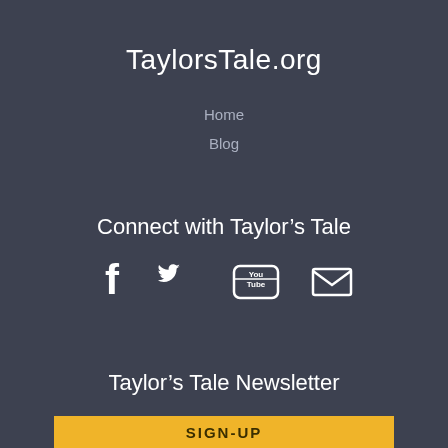TaylorsTale.org
Home
Blog
Connect with Taylor's Tale
[Figure (infographic): Social media icons: Facebook, Twitter, YouTube, Email]
Taylor's Tale Newsletter
SIGN-UP